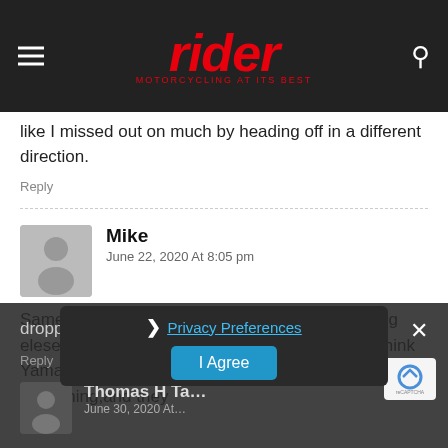rider — MOTORCYCLING AT ITS BEST
like I missed out on much by heading off in a different direction.
Reply
Mike
June 22, 2020 At 8:05 pm
Same here I waited and waited ,bought something elese,limited numbers ect,maybe in a few hrs ,I think Yamaha blew it out of the water,but availability is everything,and they dropped the ball on that one
Reply
Thomas H Ta...
June 30, 2020 At...
Privacy Preferences
I Agree